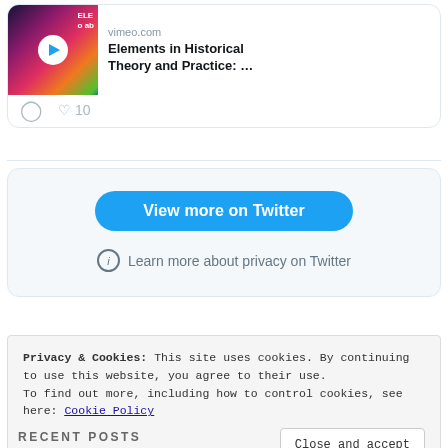[Figure (screenshot): Twitter embedded card showing a Vimeo video thumbnail with play button, title 'Elements in Historical Theory and Practice: ...' from vimeo.com, with comment and like (10) icons below]
View more on Twitter
Learn more about privacy on Twitter
Privacy & Cookies: This site uses cookies. By continuing to use this website, you agree to their use. To find out more, including how to control cookies, see here: Cookie Policy
Close and accept
RECENT POSTS